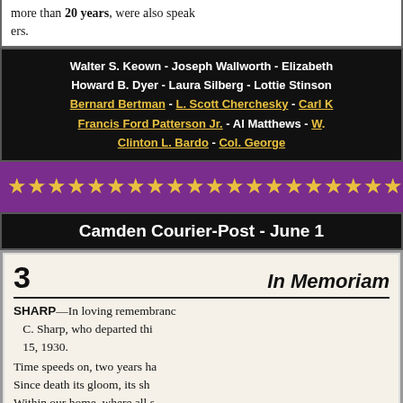more than 20 years, were also speakers.
Walter S. Keown - Joseph Wallworth - Elizabeth Howard B. Dyer - Laura Silberg - Lottie Stinson Bernard Bertman - L. Scott Cherchesky - Carl K. Francis Ford Patterson Jr. - Al Matthews - W. Clinton L. Bardo - Col. George
[Figure (other): A row of gold stars on purple background as a decorative divider]
Camden Courier-Post - June 1
3   In Memoriam
SHARP—In loving remembrance C. Sharp, who departed this 15, 1930.
Time speeds on, two years hav Since death its gloom, its sha Within our home, where all se And took from us a shining lig We miss that light, and ever